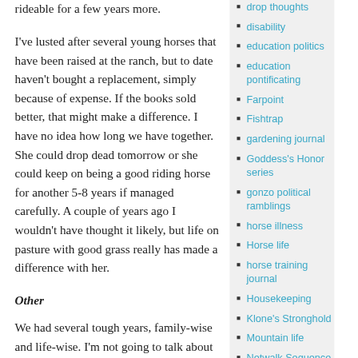rideable for a few years more.
I've lusted after several young horses that have been raised at the ranch, but to date haven't bought a replacement, simply because of expense. If the books sold better, that might make a difference. I have no idea how long we have together. She could drop dead tomorrow or she could keep on being a good riding horse for another 5-8 years if managed carefully. A couple of years ago I wouldn't have thought it likely, but life on pasture with good grass really has made a difference with her.
Other
We had several tough years, family-wise and life-wise. I'm not going to talk about some of it because it's private. 2012 was a particularly difficult year, because we lost several close
disability
education politics
education pontificating
Farpoint
Fishtrap
gardening journal
Goddess's Honor series
gonzo political ramblings
horse illness
Horse life
horse training journal
Housekeeping
Klone's Stronghold
Mountain life
Netwalk Sequence